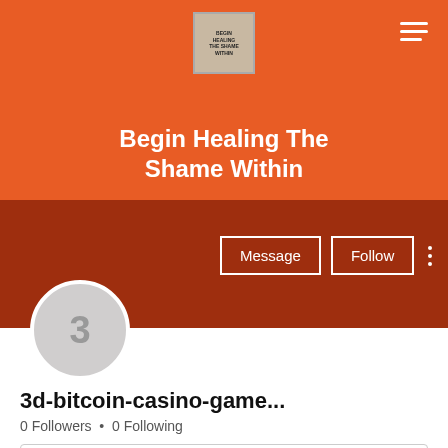[Figure (logo): Small book cover logo for 'Begin Healing The Shame Within']
Begin Healing The Shame Within
[Figure (photo): Dark red/brown banner background section with Message and Follow buttons and avatar circle with number 3]
3d-bitcoin-casino-game...
0 Followers • 0 Following
[Figure (other): Dropdown box with chevron arrow]